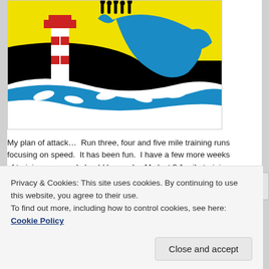[Figure (logo): Bridge Run event logo: stylized lighthouse with red grid panels on the left, a large blue dolphin leaping in the center-right, small white dolphins in waves at the bottom, silhouettes of runners at the top, yellow/black background, with 'BRIDGE RUN' text in large letters at the bottom of the image.]
My plan of attack…  Run three, four and five mile training runs focusing on speed.  It has been fun.  I have a few more weeks of training runs, so I should be ready.  My last 3.1 mile training run was a 7:58 pace, so I know come
Privacy & Cookies: This site uses cookies. By continuing to use this website, you agree to their use.
To find out more, including how to control cookies, see here: Cookie Policy
Close and accept